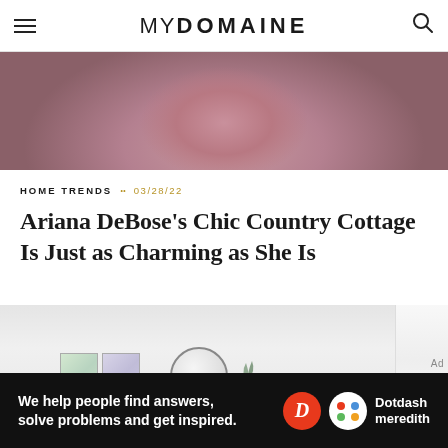MYDOMAINE
[Figure (photo): Person wearing a chunky pink knit sweater, cropped torso view]
HOME TRENDS •• 03/28/22
Ariana DeBose's Chic Country Cottage Is Just as Charming as She Is
[Figure (photo): Bright minimal interior room with framed art, round mirror, and plant]
Ad
We help people find answers, solve problems and get inspired. Dotdash meredith